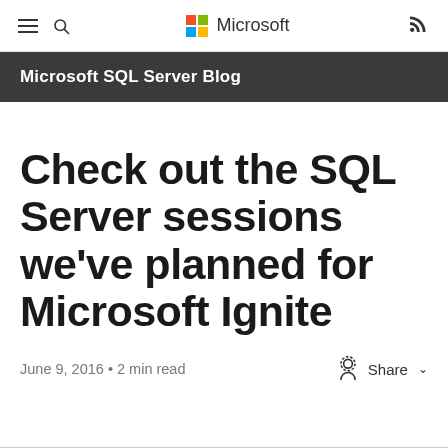Microsoft
Microsoft SQL Server Blog
Check out the SQL Server sessions we've planned for Microsoft Ignite
June 9, 2016 • 2 min read
Share